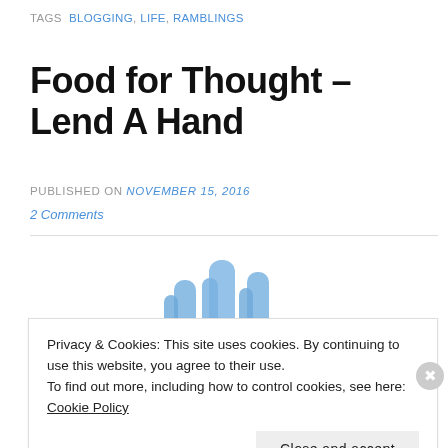TAGS  BLOGGING, LIFE, RAMBLINGS
Food for Thought – Lend A Hand
PUBLISHED ON November 15, 2016
2 Comments
[Figure (illustration): Partial illustration of blue-colored hands reaching upward, partially visible at the bottom of the content area]
Privacy & Cookies: This site uses cookies. By continuing to use this website, you agree to their use.
To find out more, including how to control cookies, see here: Cookie Policy